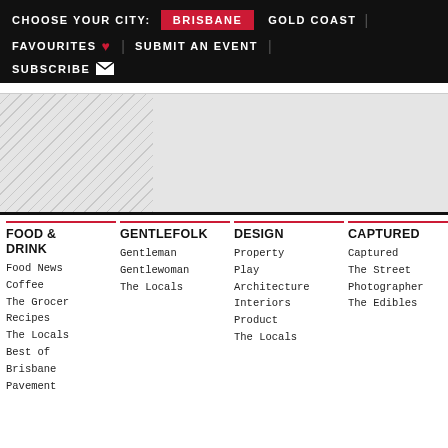CHOOSE YOUR CITY: BRISBANE | GOLD COAST | FAVOURITES ♥ | SUBMIT AN EVENT | SUBSCRIBE
[Figure (other): Advertisement banner placeholder with hatched left section and grey right section]
FOOD & DRINK
Food News
Coffee
The Grocer
Recipes
The Locals
Best of Brisbane
Pavement
GENTLEFOLK
Gentleman
Gentlewoman
The Locals
DESIGN
Property
Play
Architecture
Interiors
Product
The Locals
CAPTURED
Captured
The Street Photographer
The Edibles